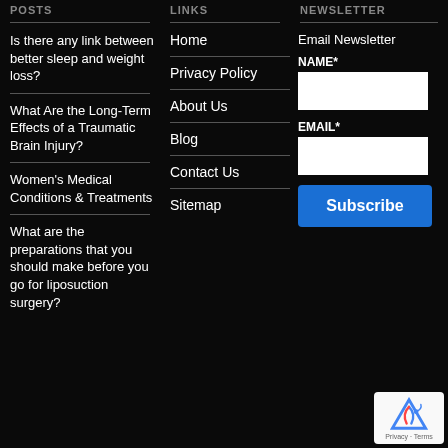POSTS | LINKS | NEWSLETTER
Is there any link between better sleep and weight loss?
What Are the Long-Term Effects of a Traumatic Brain Injury?
Women's Medical Conditions & Treatments
What are the preparations that you should make before you go for liposuction surgery?
Home
Privacy Policy
About Us
Blog
Contact Us
Sitemap
Email Newsletter
NAME*
EMAIL*
Subscribe